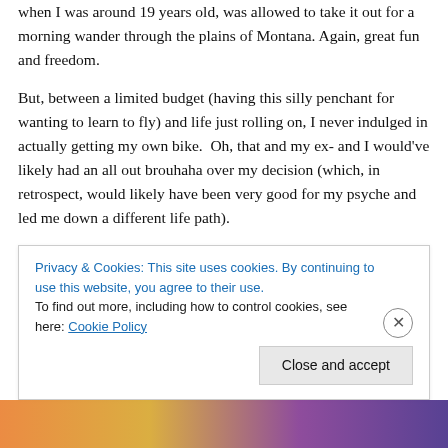when I was around 19 years old, was allowed to take it out for a morning wander through the plains of Montana. Again, great fun and freedom.
But, between a limited budget (having this silly penchant for wanting to learn to fly) and life just rolling on, I never indulged in actually getting my own bike.  Oh, that and my ex- and I would've likely had an all out brouhaha over my decision (which, in retrospect, would likely have been very good for my psyche and led me down a different life path).
So, now, it is my turn to play.  This spring, along with Dear
Privacy & Cookies: This site uses cookies. By continuing to use this website, you agree to their use.
To find out more, including how to control cookies, see here: Cookie Policy
Close and accept